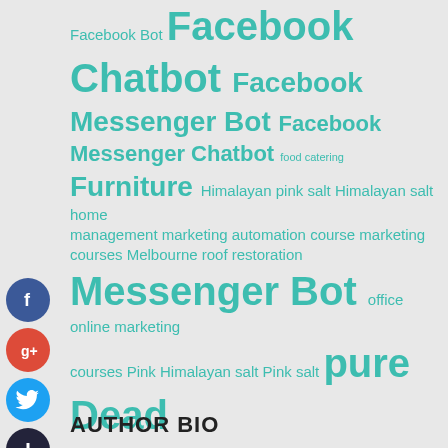[Figure (infographic): Tag cloud / word cloud with terms related to social media bots, salt products, marketing, and services. Terms vary in font size indicating frequency/importance. Color is teal/turquoise throughout.]
[Figure (infographic): Social media icons (Facebook, Google+, Twitter, and a plus/add button) arranged vertically on the left side.]
AUTHOR BIO